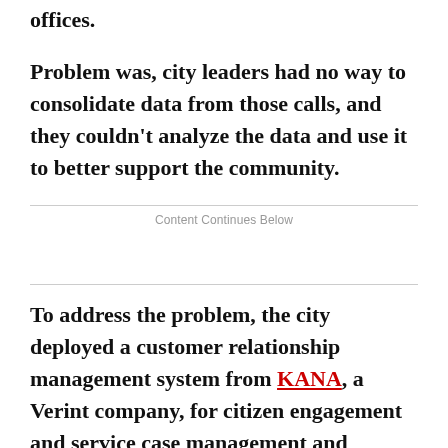offices.
Problem was, city leaders had no way to consolidate data from those calls, and they couldn't analyze the data and use it to better support the community.
Content Continues Below
To address the problem, the city deployed a customer relationship management system from KANA, a Verint company, for citizen engagement and service case management and resolution. Using the system, officials can now track problems and categorize and map calls, says